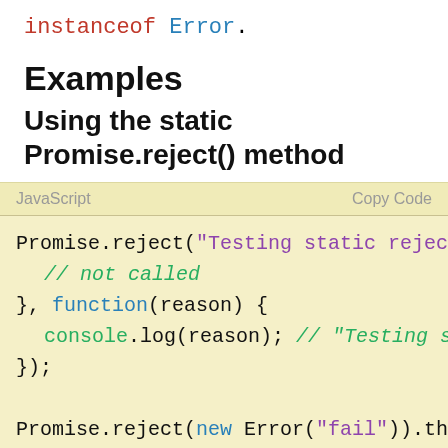instanceof Error.
Examples
Using the static Promise.reject() method
[Figure (screenshot): JavaScript code block with two Promise.reject() examples on a pale yellow background. First example: Promise.reject("Testing static rejec... // not called }, function(reason) {   console.log(reason); // "Testing s }); Second example: Promise.reject(new Error("fail")).th   // not called }, function(error) {]